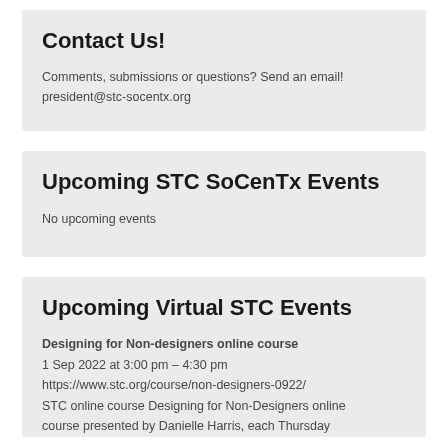Contact Us!
Comments, submissions or questions? Send an email!
president@stc-socentx.org
Upcoming STC SoCenTx Events
No upcoming events
Upcoming Virtual STC Events
Designing for Non-designers online course
1 Sep 2022 at 3:00 pm – 4:30 pm
https://www.stc.org/course/non-designers-0922/
STC online course Designing for Non-Designers online course presented by Danielle Harris, each Thursday